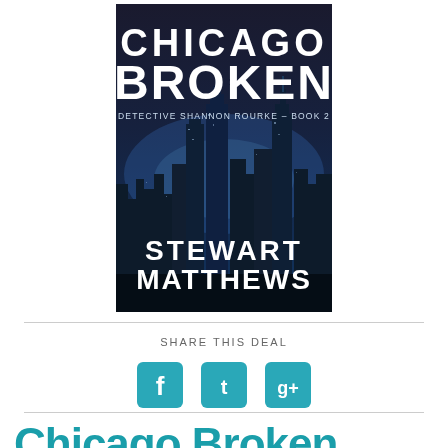[Figure (illustration): Book cover for 'Chicago Broken' by Stewart Matthews — Detective Shannon Rourke Book 2. Dark blue-toned aerial photograph of Chicago skyline at night with the title 'CHICAGO BROKEN' in large white bold letters at the top, subtitle 'DETECTIVE SHANNON ROURKE – BOOK 2' in smaller text, and author name 'STEWART MATTHEWS' in large white letters at the bottom.]
SHARE THIS DEAL
[Figure (infographic): Three social media icon buttons in teal/cyan color: Facebook (f), Twitter (bird), and Google+ (g+)]
Chicago Broken